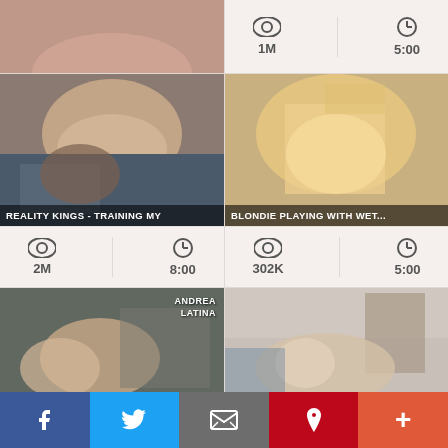[Figure (screenshot): Top-left partial video thumbnail (cropped)]
[Figure (screenshot): Top-right stats area showing views 1M and duration 5:00]
[Figure (screenshot): Video thumbnail labeled REALITY KINGS - TRAINING MY with 2M views and 8:00 duration]
[Figure (screenshot): Video thumbnail labeled BLONDIE PLAYING WITH WET with 302K views and 5:00 duration]
[Figure (screenshot): Bottom-left video thumbnail with ANDREA LATINA watermark]
[Figure (screenshot): Bottom-right video thumbnail]